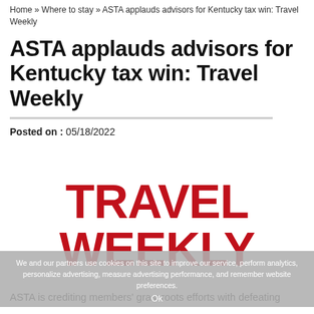Home » Where to stay » ASTA applauds advisors for Kentucky tax win: Travel Weekly
ASTA applauds advisors for Kentucky tax win: Travel Weekly
Posted on : 05/18/2022
[Figure (logo): Travel Weekly logo in large bold red uppercase text]
We and our partners use cookies on this site to improve our service, perform analytics, personalize advertising, measure advertising performance, and remember website preferences.
Ok
ASTA is crediting members' grassroots efforts with defeating